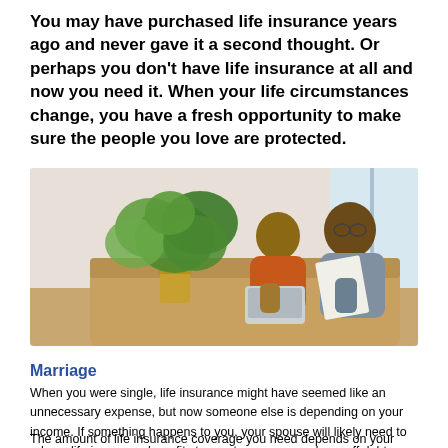You may have purchased life insurance years ago and never gave it a second thought. Or perhaps you don't have life insurance at all and now you need it. When your life circumstances change, you have a fresh opportunity to make sure the people you love are protected.
[Figure (photo): A couple sitting together on a couch, with the woman holding a laptop and the man reviewing a document. Large tropical plant in background near windows.]
Marriage
When you were single, life insurance might have seemed like an unnecessary expense, but now someone else is depending on your income. If something happens to you, your spouse will likely need to rely on life insurance benefits to meet expenses and pay off debts.
The amount of life insurance coverage you need depends on your